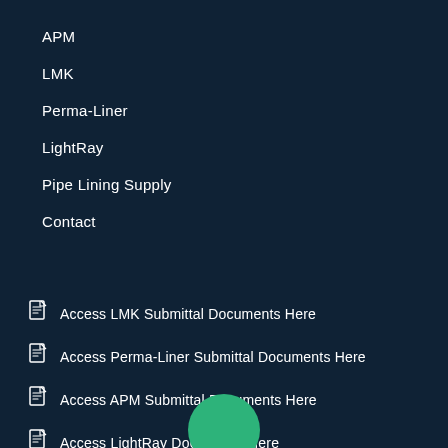APM
LMK
Perma-Liner
LightRay
Pipe Lining Supply
Contact
Access LMK Submittal Documents Here
Access Perma-Liner Submittal Documents Here
Access APM Submittal Documents Here
Access LightRay Documents Here
[Figure (illustration): Green circle partially visible at bottom center of page]